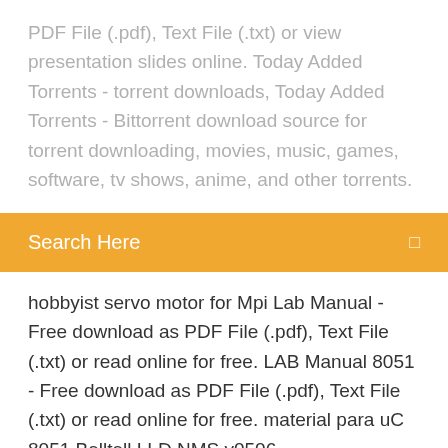PDF File (.pdf), Text File (.txt) or view presentation slides online. Today Added Torrents - torrent downloads, Today Added Torrents - Bittorrent download source for torrent downloading, movies, music, games, software, tv shows, anime, and other torrents.
Search Here
hobbyist servo motor for Mpi Lab Manual - Free download as PDF File (.pdf), Text File (.txt) or read online for free. LAB Manual 8051 - Free download as PDF File (.pdf), Text File (.txt) or read online for free. material para uC 8051 Belltell LLD NMS v0506 NetActNEBRTrafficaSAI - Free download as Word Doc (.doc / .docx), PDF File (.pdf), Text File (.txt) or read online for free. NMS Low Level Design GSM Based Voting Machine - Free download as Word Doc (.doc), PDF File (.pdf), Text File (.txt) or read online for free. OS : Ubuntu 16.04 LTS UE version : 4.18